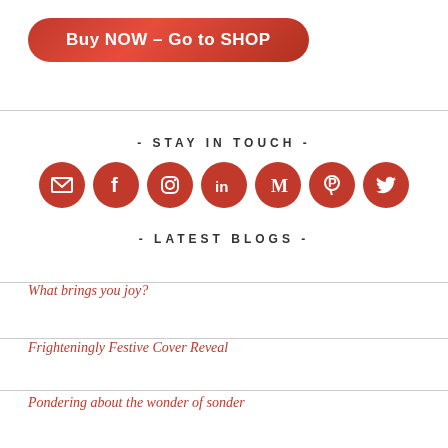[Figure (other): Red rounded button with white text reading 'Buy NOW – Go to SHOP']
- STAY IN TOUCH -
[Figure (other): Seven red circular social media icons in a row: email/envelope, Facebook, Instagram, LinkedIn, Medium, Pinterest, Twitter]
- LATEST BLOGS -
What brings you joy?
Frighteningly Festive Cover Reveal
Pondering about the wonder of sonder